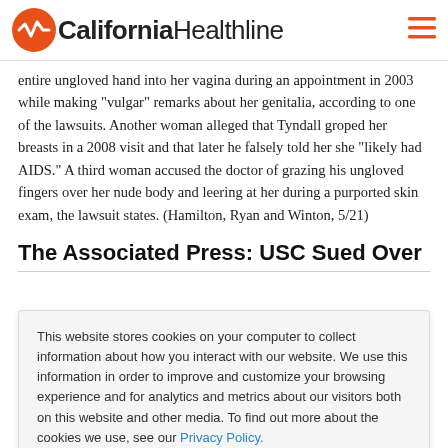California Healthline
entire ungloved hand into her vagina during an appointment in 2003 while making "vulgar" remarks about her genitalia, according to one of the lawsuits. Another woman alleged that Tyndall groped her breasts in a 2008 visit and that later he falsely told her she "likely had AIDS." A third woman accused the doctor of grazing his ungloved fingers over her nude body and leering at her during a purported skin exam, the lawsuit states. (Hamilton, Ryan and Winton, 5/21)
The Associated Press: USC Sued Over
This website stores cookies on your computer to collect information about how you interact with our website. We use this information in order to improve and customize your browsing experience and for analytics and metrics about our visitors both on this website and other media. To find out more about the cookies we use, see our Privacy Policy.